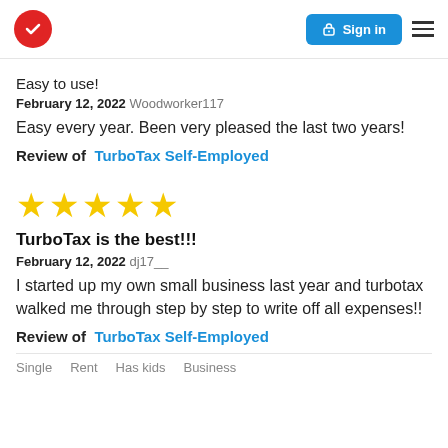Sign in
Easy to use!
February 12, 2022 Woodworker117
Easy every year. Been very pleased the last two years!
Review of TurboTax Self-Employed
[Figure (other): 5 gold stars rating]
TurboTax is the best!!!
February 12, 2022 dj17__
I started up my own small business last year and turbotax walked me through step by step to write off all expenses!!
Review of TurboTax Self-Employed
Single  Rent  Has kids  Business